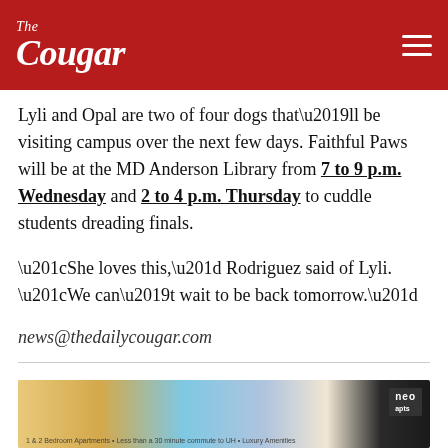The Cougar
Lyli and Opal are two of four dogs that’ll be visiting campus over the next few days. Faithful Paws will be at the MD Anderson Library from 7 to 9 p.m. Wednesday and 2 to 4 p.m. Thursday to cuddle students dreading finals.
“She loves this,” Rodriguez said of Lyli. “We can’t wait to be back tomorrow.”
news@thedailycougar.com
Tags: Dogs, Faithful Paws, Finals, Finals Mania, Paws and Relax, UH Library
[Figure (photo): Advertisement banner for Neo apartments: 1 & 2 Bedroom Apartments - Less than a 30 minute commute to UH - Luxury Amenities]